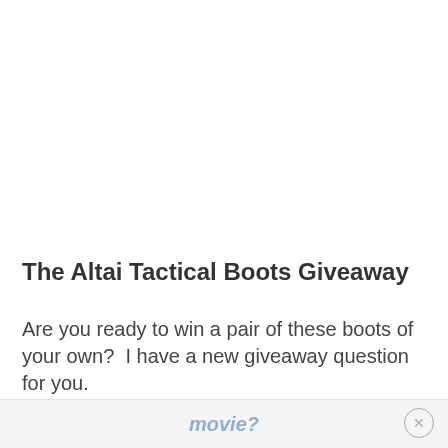The Altai Tactical Boots Giveaway
Are you ready to win a pair of these boots of your own?  I have a new giveaway question for you.
What is your favorite survival or post-apocalyptic movie?